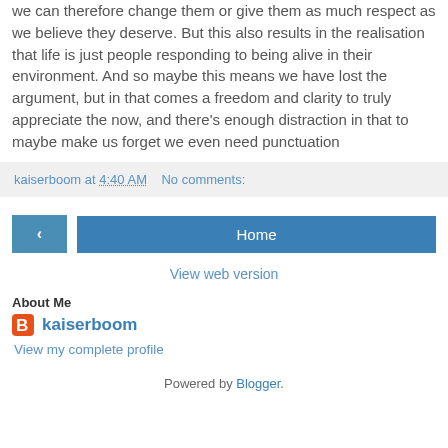we can therefore change them or give them as much respect as we believe they deserve. But this also results in the realisation that life is just people responding to being alive in their environment. And so maybe this means we have lost the argument, but in that comes a freedom and clarity to truly appreciate the now, and there's enough distraction in that to maybe make us forget we even need punctuation
kaiserboom at 4:40 AM   No comments:
‹   Home   View web version
About Me
kaiserboom
View my complete profile
Powered by Blogger.